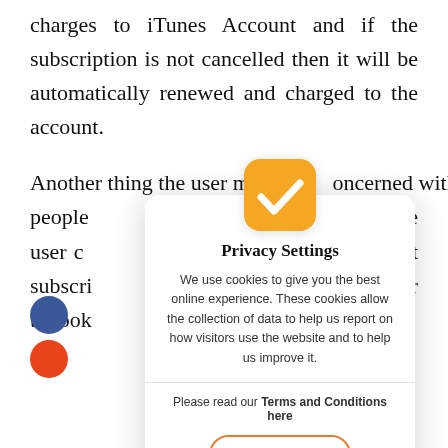charges to iTunes Account and if the subscription is not cancelled then it will be automatically renewed and charged to the account.
Another thing the user m oncerned with, is that people the user c not subscri ser to look hey are ch
[Figure (screenshot): Privacy Settings modal dialog with orange checkmark icon, text about cookies and data collection, Terms and Conditions link, and I Agree button]
Share